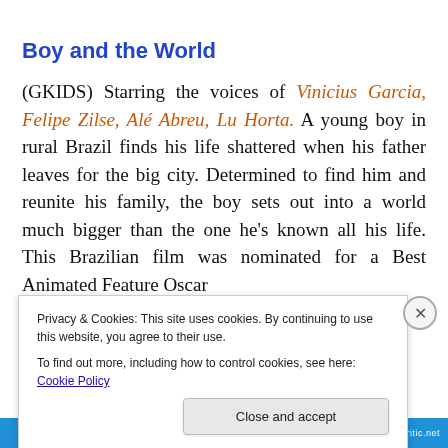Boy and the World
(GKIDS) Starring the voices of Vinicius Garcia, Felipe Zilse, Alé Abreu, Lu Horta. A young boy in rural Brazil finds his life shattered when his father leaves for the big city. Determined to find him and reunite his family, the boy sets out into a world much bigger than the one he's known all his life. This Brazilian film was nominated for a Best Animated Feature Oscar
Privacy & Cookies: This site uses cookies. By continuing to use this website, you agree to their use.
To find out more, including how to control cookies, see here: Cookie Policy
Close and accept